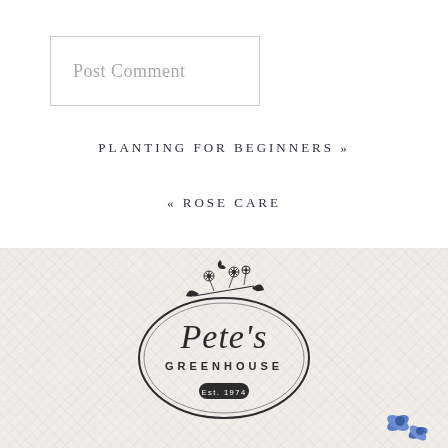Post Comment
PLANTING FOR BEGINNERS »
« ROSE CARE
[Figure (logo): Pete's Greenhouse oval logo with floral illustration and 'Est. 1974' badge]